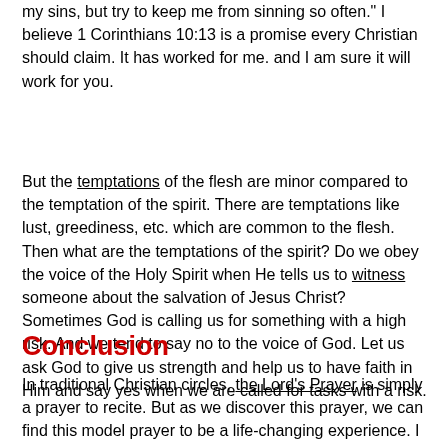my sins, but try to keep me from sinning so often." I believe 1 Corinthians 10:13 is a promise every Christian should claim. It has worked for me. and I am sure it will work for you.
But the temptations of the flesh are minor compared to the temptation of the spirit. There are temptations like lust, greediness, etc. which are common to the flesh. Then what are the temptations of the spirit? Do we obey the voice of the Holy Spirit when He tells us to witness someone about the salvation of Jesus Christ? Sometimes God is calling us for something with a high risk. And we tend to say no to the voice of God. Let us ask God to give us strength and help us to have faith in Him and say yes when we are called for tasks with a risk.
Conclusion
In traditional Christian circles, the Lord's Prayer is simply a prayer to recite. But as we discover this prayer, we can find this model prayer to be a life-changing experience. I believe my sermon today helped you to do just that.